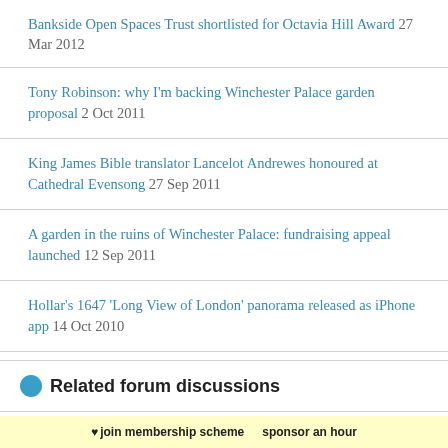Bankside Open Spaces Trust shortlisted for Octavia Hill Award 27 Mar 2012
Tony Robinson: why I'm backing Winchester Palace garden proposal 2 Oct 2011
King James Bible translator Lancelot Andrewes honoured at Cathedral Evensong 27 Sep 2011
A garden in the ruins of Winchester Palace: fundraising appeal launched 12 Sep 2011
Hollar's 1647 'Long View of London' panorama released as iPhone app 14 Oct 2010
Related forum discussions
What used to be where Pizza Express is?
♥ join membership scheme   sponsor an hour